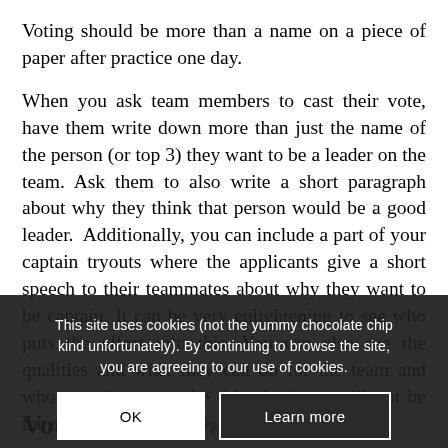Voting should be more than a name on a piece of paper after practice one day.
When you ask team members to cast their vote, have them write down more than just the name of the person (or top 3) they want to be a leader on the team. Ask them to also write a short paragraph about why they think that person would be a good leader.  Additionally, you can include a part of your captain tryouts where the applicants give a short speech to their teammates about why they want to be captain. It can be very enlightening to see who puts the effort into this. You can also see the qualities and what they can do for the team and who actually wants the title. And you will not be the only one who notices the dedication.
This site uses cookies (not the yummy chocolate chip kind unfortunately). By continuing to browse the site, you are agreeing to our use of cookies.
Voting is only the 1st step